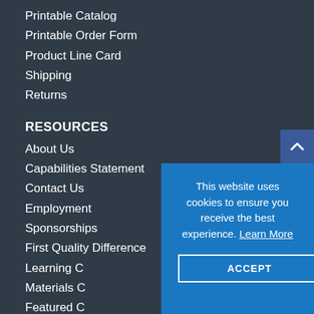Printable Catalog
Printable Order Form
Product Line Card
Shipping
Returns
RESOURCES
About Us
Capabilities Statement
Contact Us
Employment
Sponsorships
First Quality Difference
Learning C
Materials C
Featured C
Photo Galle
Site Map
This website uses cookies to ensure you receive the best experience. Learn More
ACCEPT